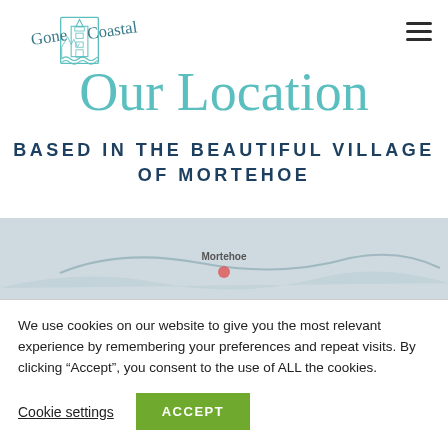Gone Coastal — navigation header with logo and hamburger menu
Our Location
BASED IN THE BEAUTIFUL VILLAGE OF MORTEHOE
[Figure (map): Map area showing location of Mortehoe village]
We use cookies on our website to give you the most relevant experience by remembering your preferences and repeat visits. By clicking “Accept”, you consent to the use of ALL the cookies.
Cookie settings  ACCEPT